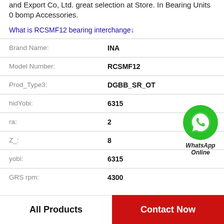and Export Co, Ltd. great selection at Store. In Bearing Units 0 bomp Accessories.
What is RCSMF12 bearing interchange↓
| Field | Value |
| --- | --- |
| Brand Name: | INA |
| Model Number: | RCSMF12 |
| Prod_Type3: | DGBB_SR_OT |
| hidYobi: | 6315 |
| ra: | 2 |
| Z_: | 8 |
| yobi: | 6315 |
| GRS rpm: | 4300 |
[Figure (illustration): WhatsApp Online green phone icon with label]
All Products
Contact Now